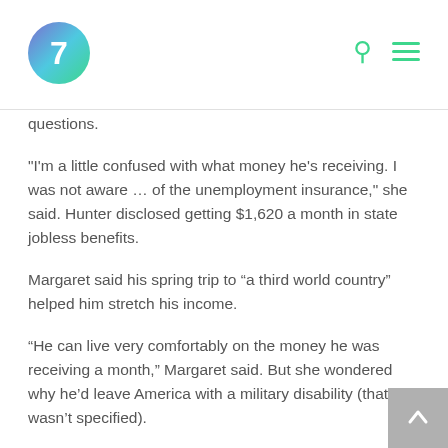7
questions.
"I'm a little confused with what money he's receiving. I was not aware … of the unemployment insurance," she said. Hunter disclosed getting $1,620 a month in state jobless benefits.
Margaret said his spring trip to “a third world country” helped him stretch his income.
“He can live very comfortably on the money he was receiving a month,” Margaret said. But she wondered why he’d leave America with a military disability (that wasn’t specified).
“I would think he would comfortably want to stay home and not travel to a war zone,” she said. “It just seems like